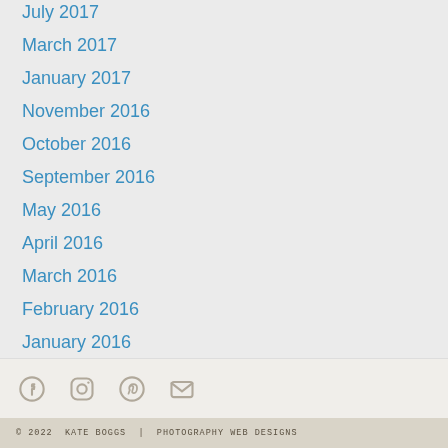July 2017
March 2017
January 2017
November 2016
October 2016
September 2016
May 2016
April 2016
March 2016
February 2016
January 2016
December 2015
November 2015
© 2022 KATE BOGGS | PHOTOGRAPHY WEB DESIGNS